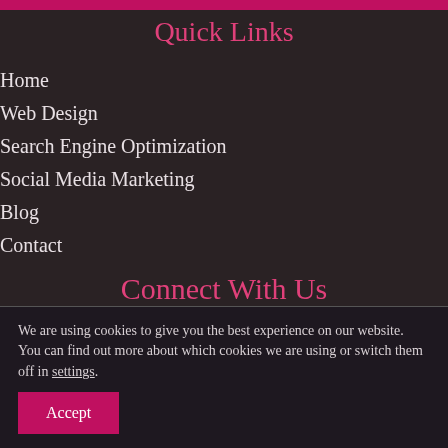Quick Links
Home
Web Design
Search Engine Optimization
Social Media Marketing
Blog
Contact
Connect With Us
We are using cookies to give you the best experience on our website.
You can find out more about which cookies we are using or switch them off in settings.
Accept